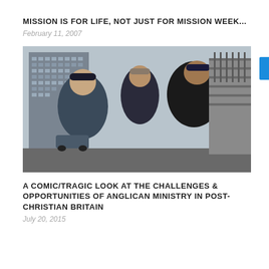MISSION IS FOR LIFE, NOT JUST FOR MISSION WEEK...
February 11, 2007
[Figure (photo): Three young men standing in front of a tall residential tower block on a grey overcast day. The man on the left wears a dark beanie hat and a navy blue tracksuit jacket with blue stripes. The man in the middle wears a grey flat cap and a dark jacket. The man on the right wears a dark navy cap and a black hoodie with grey sweatpants.]
A COMIC/TRAGIC LOOK AT THE CHALLENGES & OPPORTUNITIES OF ANGLICAN MINISTRY IN POST-CHRISTIAN BRITAIN
July 20, 2015